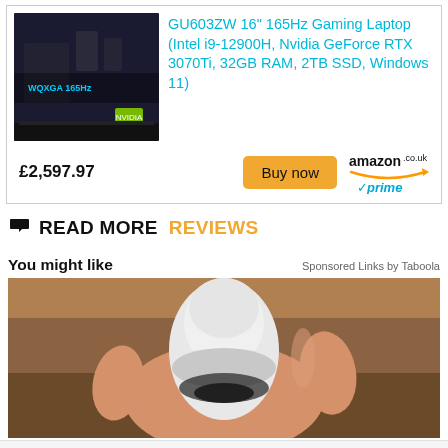[Figure (photo): Gaming laptop with screen showing WQXGA 165Hz display with game graphics, on dark background]
GU603ZW 16" 165Hz Gaming Laptop (Intel i9-12900H, Nvidia GeForce RTX 3070Ti, 32GB RAM, 2TB SSD, Windows 11)
£2,597.97
Buy now
[Figure (logo): amazon.co.uk logo with prime badge]
READ MORE  REVIEWS
You might like
Sponsored Links by Taboola
[Figure (photo): Hand holding a white security camera device]
Circle K Convenience Store
Circle K